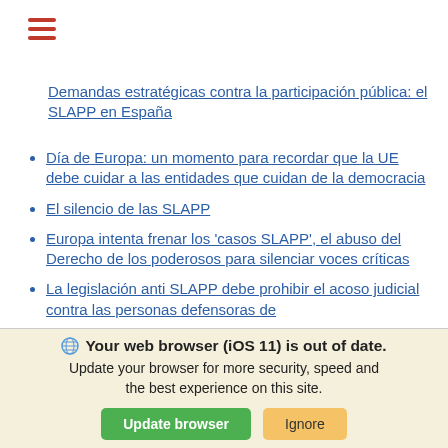[Figure (other): Hamburger menu icon (three horizontal red lines)]
Demandas estratégicas contra la participación pública: el SLAPP en España
Día de Europa: un momento para recordar que la UE debe cuidar a las entidades que cuidan de la democracia
El silencio de las SLAPP
Europa intenta frenar los 'casos SLAPP', el abuso del Derecho de los poderosos para silenciar voces críticas
La legislación anti SLAPP debe prohibir el acoso judicial contra las personas defensoras de derechos
Your web browser (iOS 11) is out of date. Update your browser for more security, speed and the best experience on this site.